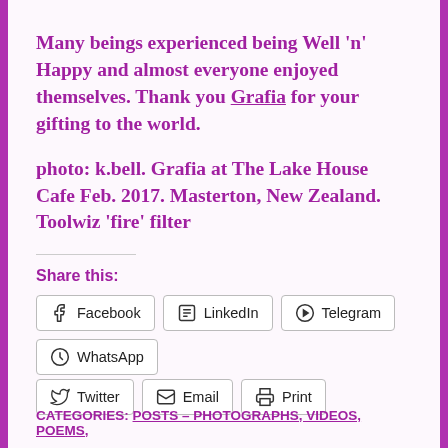Many beings experienced being Well 'n' Happy and almost everyone enjoyed themselves. Thank you Grafia for your gifting to the world.
photo: k.bell. Grafia at The Lake House Cafe Feb. 2017. Masterton, New Zealand. Toolwiz 'fire' filter
Share this:
Facebook  LinkedIn  Telegram  WhatsApp  Twitter  Email  Print
CATEGORIES: POSTS – PHOTOGRAPHS, VIDEOS, POEMS,